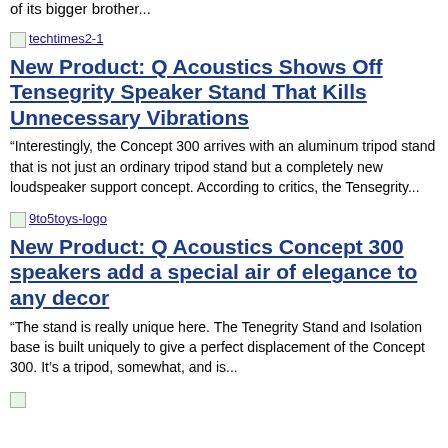of its bigger brother...
[Figure (logo): techtimes2-1 logo image placeholder link]
New Product: Q Acoustics Shows Off Tensegrity Speaker Stand That Kills Unnecessary Vibrations
“Interestingly, the Concept 300 arrives with an aluminum tripod stand that is not just an ordinary tripod stand but a completely new loudspeaker support concept. According to critics, the Tensegrity...
[Figure (logo): 9to5toys-logo image placeholder link]
New Product: Q Acoustics Concept 300 speakers add a special air of elegance to any decor
“The stand is really unique here. The Tenegrity Stand and Isolation base is built uniquely to give a perfect displacement of the Concept 300. It’s a tripod, somewhat, and is...
[Figure (logo): logo image placeholder link at bottom]